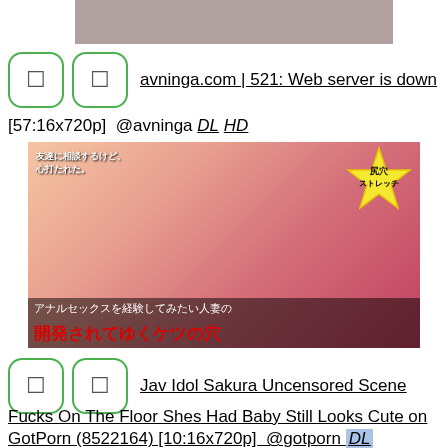[Figure (photo): Partial image at top of page, cropped]
avninga.com | 521: Web server is down
[57:16x720p]  @avninga DL HD
[Figure (photo): Japanese adult video thumbnail with Japanese text overlay]
Jav Idol Sakura Uncensored Scene Fucks On The Floor Shes Had Baby Still Looks Cute on GotPorn (8522164) [10:16x720p]  @gotporn DL